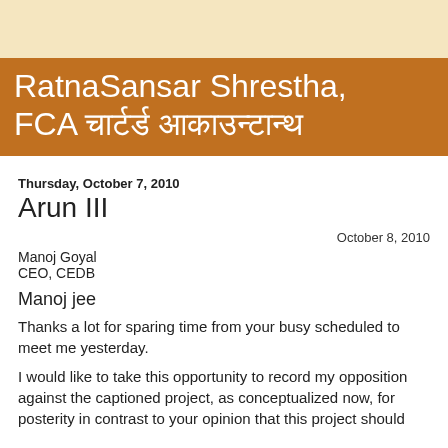RatnaSansar Shrestha, FCA चार्टर्ड आकाउन्टान्ठ
Thursday, October 7, 2010
Arun III
October 8, 2010
Manoj Goyal
CEO, CEDB
Manoj jee
Thanks a lot for sparing time from your busy scheduled to meet me yesterday.
I would like to take this opportunity to record my opposition against the captioned project, as conceptualized now, for posterity in contrast to your opinion that this project should